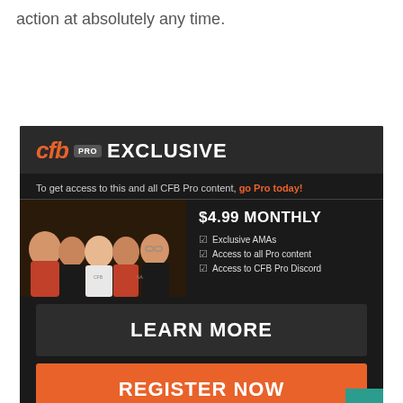action at absolutely any time.
[Figure (infographic): CFB Pro Exclusive advertisement banner. Contains CFB Pro logo, subtitle 'To get access to this and all CFB Pro content, go Pro today!', group photo of five people, pricing '$4.99 MONTHLY' with features: Exclusive AMAs, Access to all Pro content, Access to CFB Pro Discord, and two buttons: LEARN MORE and REGISTER NOW.]